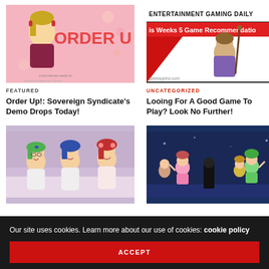[Figure (screenshot): Order Up! game promotional image with pink background and anime-style character with ORDER UP text]
[Figure (screenshot): Entertainment Gaming Daily website screenshot showing This Weeks 5 Game Recommendations with Dragon Quest-style character]
FEATURED
Order Up!: Sovereign Syndicate's Demo Drops Today!
UNCATEGORIZED
Looing For A Good Game To Play? Look No Further!
[Figure (screenshot): Anime screenshot showing three girls with green, blue, and red/brown hair laughing together]
[Figure (screenshot): Anime screenshot showing characters dancing on a stage with blue night background]
Our site uses cookies. Learn more about our use of cookies: cookie policy
ACCEPT